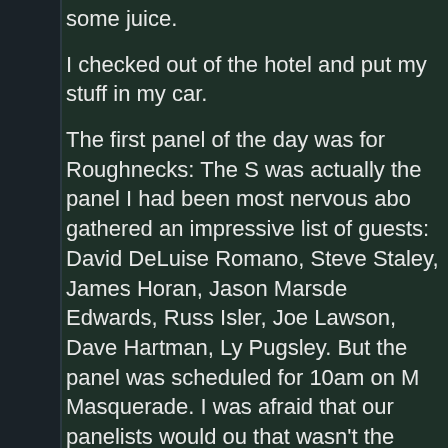some juice.
I checked out of the hotel and put my stuff in my car.
The first panel of the day was for Roughnecks: The S was actually the panel I had been most nervous abo gathered an impressive list of guests: David DeLuise Romano, Steve Staley, James Horan, Jason Marsde Edwards, Russ Isler, Joe Lawson, Dave Hartman, Ly Pugsley. But the panel was scheduled for 10am on M Masquerade. I was afraid that our panelists would ou that wasn't the case. I played an episode from the se because it's my personal favorite. Yes, I wrote it. But particularly the epilogue funeral itself. Then we gathe lot of these guys hadn't seen each other for awhile. T clear the room for the next panel.
3x3 Eyes. Guests included Thom, Jonathan Klein, Ta Chesler. This was a nice little panel too.
Then a short break and closing ceremonies. Lots of p
I hung out downstairs for awhile, then Brynne and Ru